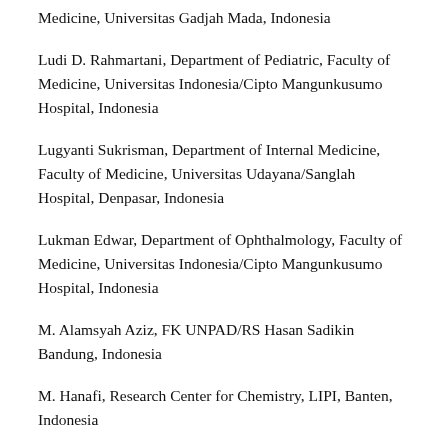Medicine, Universitas Gadjah Mada, Indonesia
Ludi D. Rahmartani, Department of Pediatric, Faculty of Medicine, Universitas Indonesia/Cipto Mangunkusumo Hospital, Indonesia
Lugyanti Sukrisman, Department of Internal Medicine, Faculty of Medicine, Universitas Udayana/Sanglah Hospital, Denpasar, Indonesia
Lukman Edwar, Department of Ophthalmology, Faculty of Medicine, Universitas Indonesia/Cipto Mangunkusumo Hospital, Indonesia
M. Alamsyah Aziz, FK UNPAD/RS Hasan Sadikin Bandung, Indonesia
M. Hanafi, Research Center for Chemistry, LIPI, Banten, Indonesia